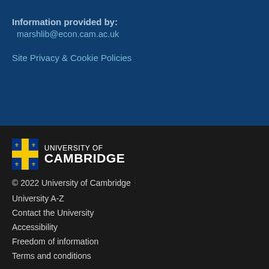Information provided by: marshlib@econ.cam.ac.uk
Site Privacy & Cookie Policies
[Figure (logo): University of Cambridge shield logo with UNIVERSITY OF CAMBRIDGE wordmark in white on dark background]
© 2022 University of Cambridge
University A-Z
Contact the University
Accessibility
Freedom of information
Terms and conditions